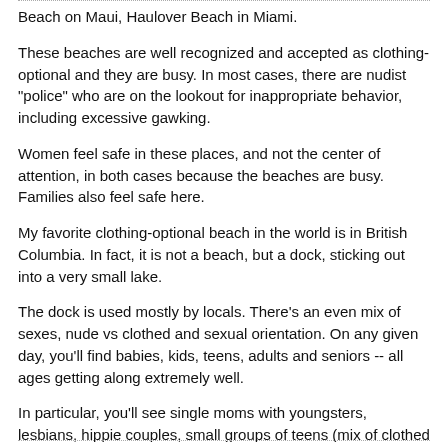Beach on Maui, Haulover Beach in Miami.
These beaches are well recognized and accepted as clothing-optional and they are busy. In most cases, there are nudist "police" who are on the lookout for inappropriate behavior, including excessive gawking.
Women feel safe in these places, and not the center of attention, in both cases because the beaches are busy. Families also feel safe here.
My favorite clothing-optional beach in the world is in British Columbia. In fact, it is not a beach, but a dock, sticking out into a very small lake.
The dock is used mostly by locals. There's an even mix of sexes, nude vs clothed and sexual orientation. On any given day, you'll find babies, kids, teens, adults and seniors -- all ages getting along extremely well.
In particular, you'll see single moms with youngsters, lesbians, hippie couples, small groups of teens (mix of clothed and nude), local characters and the odd mind-boggled tourist.
The dock is only about 30 x 7 feet. On occasion, I have seen 25 people jammed together on it, literally cheek to cheek.
Everyone is tolerant of everyone else -- the perfect example of how nudity should be accepted in the everyday world.
Gary